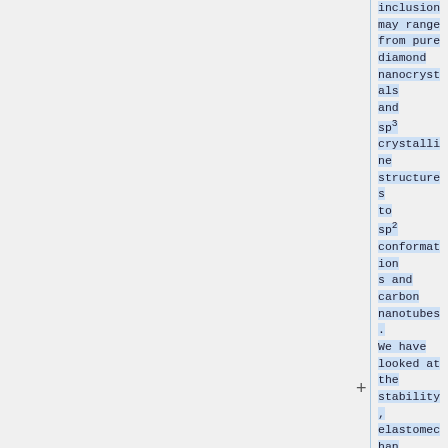inclusion may range from pure diamond nanocrystals and sp3 crystalline structures to sp2 conformations and carbon nanotubes. We have looked at the stability, elastomechanical and